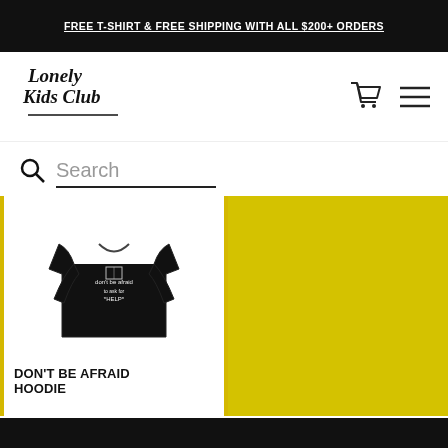FREE T-SHIRT & FREE SHIPPING WITH ALL $200+ ORDERS
[Figure (logo): Lonely Kids Club cursive logo]
Search
[Figure (photo): Black hoodie sweatshirt with graphic text]
DON'T BE AFRAID HOODIE
[Figure (other): Yellow/chartreuse solid color product panel]
REFINE